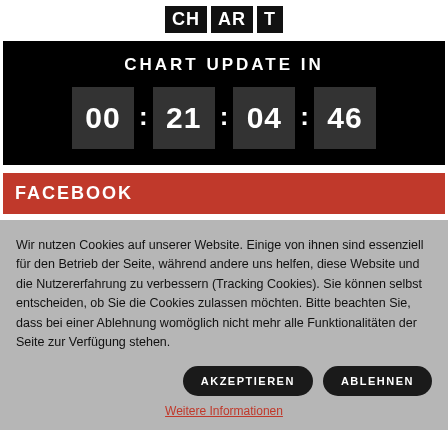[Figure (logo): Website logo - bold block letters on dark tiles]
CHART UPDATE IN
[Figure (infographic): Countdown timer showing 00 : 21 : 04 : 46 on dark boxes]
FACEBOOK
Wir nutzen Cookies auf unserer Website. Einige von ihnen sind essenziell für den Betrieb der Seite, während andere uns helfen, diese Website und die Nutzererfahrung zu verbessern (Tracking Cookies). Sie können selbst entscheiden, ob Sie die Cookies zulassen möchten. Bitte beachten Sie, dass bei einer Ablehnung womöglich nicht mehr alle Funktionalitäten der Seite zur Verfügung stehen.
AKZEPTIEREN   ABLEHNEN
Weitere Informationen